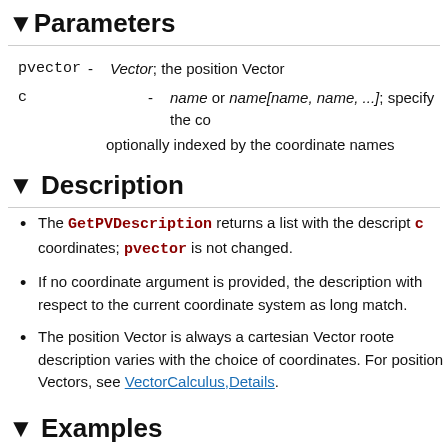▼Parameters
pvector - Vector; the position Vector
c - name or name[name, name, ...]; specify the co… optionally indexed by the coordinate names
▼ Description
The GetPVDescription returns a list with the descript… c coordinates; pvector is not changed.
If no coordinate argument is provided, the description… with respect to the current coordinate system as long… match.
The position Vector is always a cartesian Vector roote… description varies with the choice of coordinates. For position Vectors, see VectorCalculus,Details.
▼ Examples